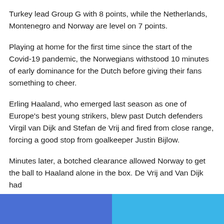Turkey lead Group G with 8 points, while the Netherlands, Montenegro and Norway are level on 7 points.
Playing at home for the first time since the start of the Covid-19 pandemic, the Norwegians withstood 10 minutes of early dominance for the Dutch before giving their fans something to cheer.
Erling Haaland, who emerged last season as one of Europe's best young strikers, blew past Dutch defenders Virgil van Dijk and Stefan de Vrij and fired from close range, forcing a good stop from goalkeeper Justin Bijlow.
Minutes later, a botched clearance allowed Norway to get the ball to Haaland alone in the box. De Vrij and Van Dijk had